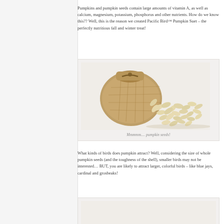Pumpkins and pumpkin seeds contain large amounts of vitamin A, as well as calcium, magnesium, potassium, phosphorus and other nutrients. How do we know this?? Well, this is the reason we created Pacific Bird™ Pumpkin Suet – the perfectly nutritious fall and winter treat!
[Figure (photo): A burlap sack tipped over with pumpkin seeds spilling out onto a white surface.]
Mmmmm.... pumpkin seeds!
What kinds of birds does pumpkin attract? Well, considering the size of whole pumpkin seeds (and the toughness of the shell), smaller birds may not be interested… BUT, you are likely to attract larger, colorful birds – like blue jays, cardinal and grosbeaks!
[Figure (photo): Partial image of another photo, cut off at bottom of page.]